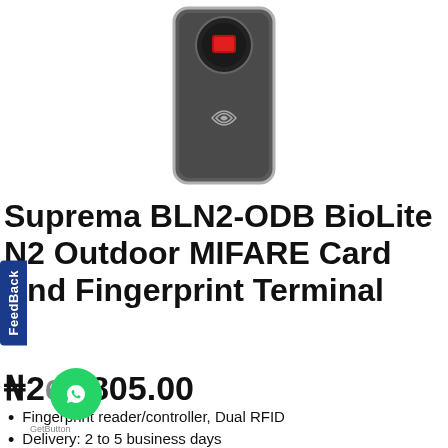[Figure (photo): A Suprema BLN2-ODB BioLite N2 fingerprint and RFID card reader device shown in dark metallic casing with red fingerprint sensor at top and NFC/MIFARE logo in center]
Suprema BLN2-ODB BioLite N2 Outdoor MIFARE Card And Fingerprint Terminal
₦266,805.00
Fingerprint reader/controller, Dual RFID
Delivery: 2 to 5 business days